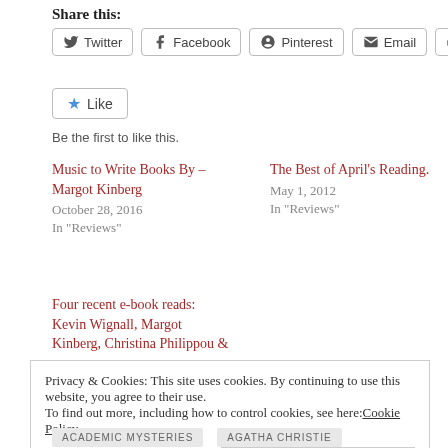Share this:
Twitter  Facebook  Pinterest  Email  Print
Like  Be the first to like this.
Music to Write Books By – Margot Kinberg
October 28, 2016
In "Reviews"
The Best of April's Reading.
May 1, 2012
In "Reviews"
Four recent e-book reads: Kevin Wignall, Margot Kinberg, Christina Philippou &
Privacy & Cookies: This site uses cookies. By continuing to use this website, you agree to their use.
To find out more, including how to control cookies, see here: Cookie Policy
Close and accept
ACADEMIC MYSTERIES  AGATHA CHRISTIE